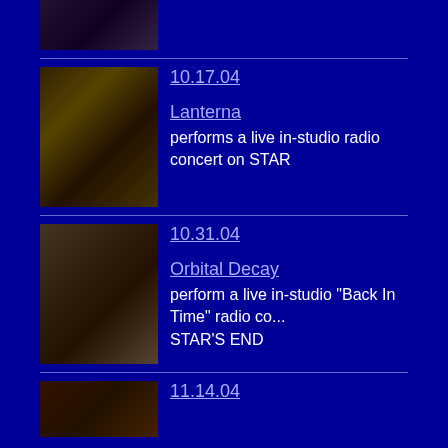[Figure (photo): Top partial photo of person in studio, cropped]
10.17.04
Lanterna
performs a live in-studio radio concert on STAR
[Figure (photo): Photo of musician playing guitar/keyboard in recording studio]
10.31.04
Orbital Decay
perform a live in-studio "Back In Time" radio co... STAR'S END
[Figure (photo): Photo of musician at mixing board/keyboard in studio]
11.14.04
[Figure (photo): Bottom partial photo entry]